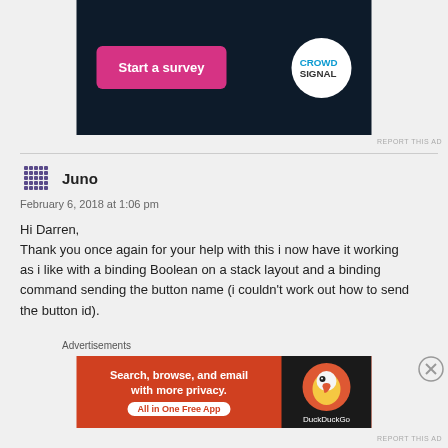[Figure (screenshot): CrowdSignal ad banner with dark background, pink 'Start a survey' button and CrowdSignal circular logo]
REPORT THIS AD
Juno
February 6, 2018 at 1:06 pm

Hi Darren,
Thank you once again for your help with this i now have it working as i like with a binding Boolean on a stack layout and a binding command sending the button name (i couldn't work out how to send the button id).
Advertisements
[Figure (screenshot): DuckDuckGo ad banner: orange background with text 'Search, browse, and email with more privacy. All in One Free App' and DuckDuckGo logo on dark panel]